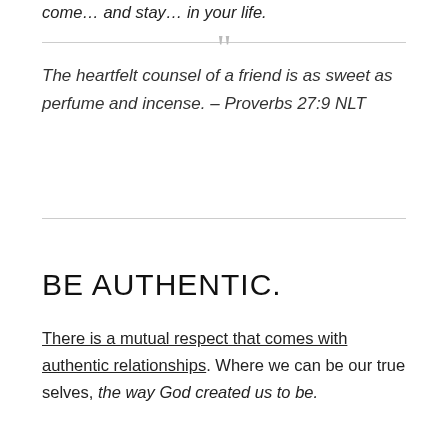come… and stay… in your life.
The heartfelt counsel of a friend is as sweet as perfume and incense. – Proverbs 27:9 NLT
BE AUTHENTIC.
There is a mutual respect that comes with authentic relationships. Where we can be our true selves, the way God created us to be.